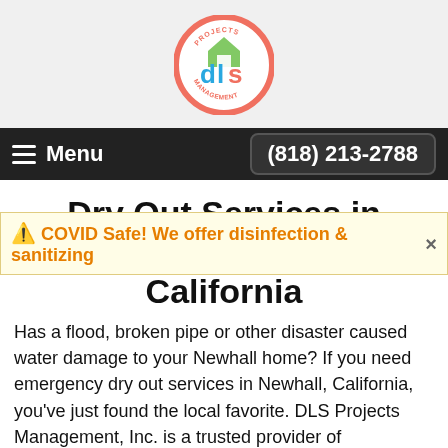[Figure (logo): DLS Projects Management circular logo with house icon, coral/salmon border, teal and blue lettering]
Menu   (818) 213-2788
Dry Out Services in Newhall, California
⚠ COVID Safe! We offer disinfection & sanitizing  ×
Has a flood, broken pipe or other disaster caused water damage to your Newhall home? If you need emergency dry out services in Newhall, California, you've just found the local favorite. DLS Projects Management, Inc. is a trusted provider of emergency dry out services in Newhall. Since 2012, we've been called to many Newhall dry out emergencies and have helped restore people to "normal"